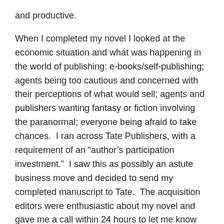and productive.
When I completed my novel I looked at the economic situation and what was happening in the world of publishing: e-books/self-publishing; agents being too cautious and concerned with their perceptions of what would sell; agents and publishers wanting fantasy or fiction involving the paranormal; everyone being afraid to take chances.  I ran across Tate Publishers, with a requirement of an “author’s participation investment.”  I saw this as possibly an astute business move and decided to send my completed manuscript to Tate.  The acquisition editors were enthusiastic about my novel and gave me a call within 24 hours to let me know they were interested. (Tate has been an excellent partner and has provided the services and expertise consistent with their contract.)